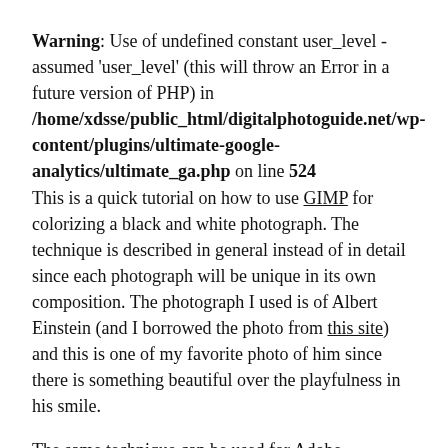Warning: Use of undefined constant user_level - assumed 'user_level' (this will throw an Error in a future version of PHP) in /home/xdsse/public_html/digitalphotoguide.net/wp-content/plugins/ultimate-google-analytics/ultimate_ga.php on line 524
This is a quick tutorial on how to use GIMP for colorizing a black and white photograph. The technique is described in general instead of in detail since each photograph will be unique in its own composition. The photograph I used is of Albert Einstein (and I borrowed the photo from this site) and this is one of my favorite photo of him since there is something beautiful over the playfulness in his smile.
The same technique can be used for Adobe